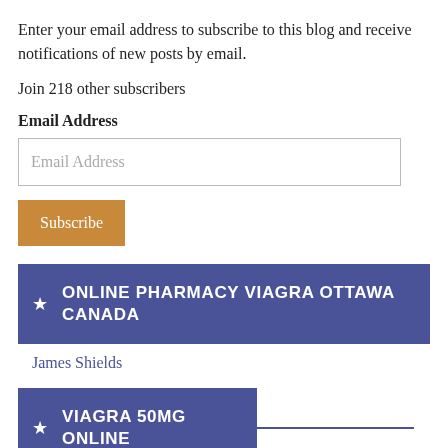Enter your email address to subscribe to this blog and receive notifications of new posts by email.
Join 218 other subscribers
Email Address
[Figure (other): Email address input field with placeholder text 'Email Address']
[Figure (other): Subscribe button with orange-brown background]
ONLINE PHARMACY VIAGRA OTTAWA CANADA
James Shields
VIAGRA 50MG ONLINE
Board Game Designer's Forum